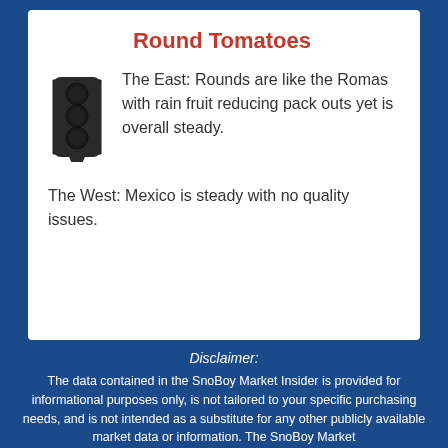Round Tomatoes
The East: Rounds are like the Romas with rain fruit reducing pack outs yet is overall steady.
The West: Mexico is steady with no quality issues.
Disclaimer: The data contained in the SnoBoy Market Insider is provided for informational purposes only, is not tailored to your specific purchasing needs, and is not intended as a substitute for any other publicly available market data or information. The SnoBoy Market